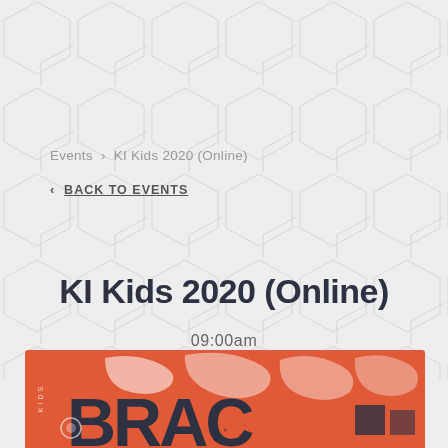Events  >  KI Kids 2020 (Online)
< BACK TO EVENTS
KI Kids 2020 (Online)
09:00am
[Figure (illustration): Red/orange promotional banner for KI Kids event with white wave shapes, 'KIDS' text vertically, large dark letters, and decorative geometric shapes at bottom]